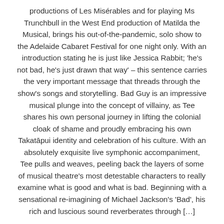productions of Les Misérables and for playing Ms Trunchbull in the West End production of Matilda the Musical, brings his out-of-the-pandemic, solo show to the Adelaide Cabaret Festival for one night only. With an introduction stating he is just like Jessica Rabbit; 'he's not bad, he's just drawn that way' – this sentence carries the very important message that threads through the show's songs and storytelling. Bad Guy is an impressive musical plunge into the concept of villainy, as Tee shares his own personal journey in lifting the colonial cloak of shame and proudly embracing his own Takatāpui identity and celebration of his culture. With an absolutely exquisite live symphonic accompaniment, Tee pulls and weaves, peeling back the layers of some of musical theatre's most detestable characters to really examine what is good and what is bad. Beginning with a sensational re-imagining of Michael Jackson's 'Bad', his rich and luscious sound reverberates through […]